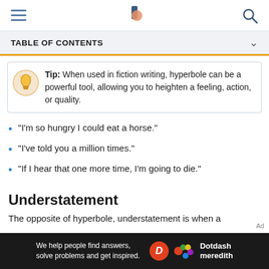TABLE OF CONTENTS
Tip: When used in fiction writing, hyperbole can be a powerful tool, allowing you to heighten a feeling, action, or quality.
"I'm so hungry I could eat a horse."
"I've told you a million times."
"If I hear that one more time, I'm going to die."
Understatement
The opposite of hyperbole, understatement is when a
[Figure (logo): Dotdash Meredith advertisement banner with tagline 'We help people find answers, solve problems and get inspired.']